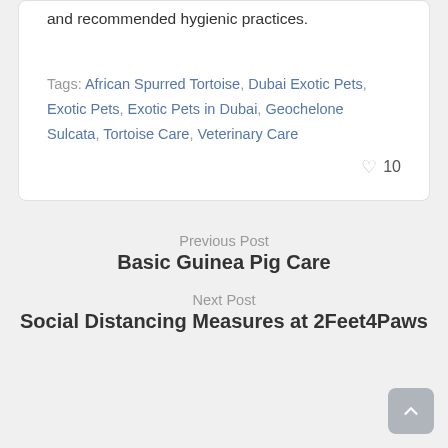and recommended hygienic practices.
Tags: African Spurred Tortoise, Dubai Exotic Pets, Exotic Pets, Exotic Pets in Dubai, Geochelone Sulcata, Tortoise Care, Veterinary Care
♡ 10
Previous Post
Basic Guinea Pig Care
Next Post
Social Distancing Measures at 2Feet4Paws